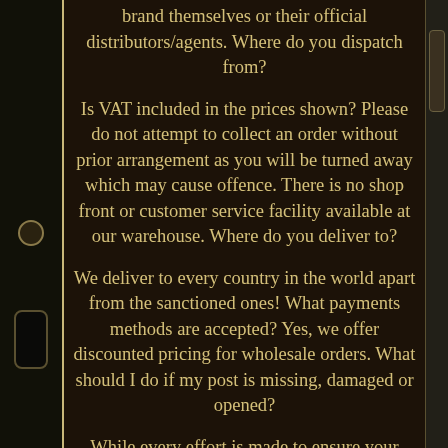brand themselves or their official distributors/agents. Where do you dispatch from?
Is VAT included in the prices shown? Please do not attempt to collect an order without prior arrangement as you will be turned away which may cause offence. There is no shop front or customer service facility available at our warehouse. Where do you deliver to?
We deliver to every country in the world apart from the sanctioned ones! What payments methods are accepted? Yes, we offer discounted pricing for wholesale orders. What should I do if my post is missing, damaged or opened?
While every effort is made to ensure your post arrives safely, unopened and in good condition, packets and parcels may occasionally be damaged during the machine sorting process. Where possible, we utilise environmentally friendly and waterproof packaging